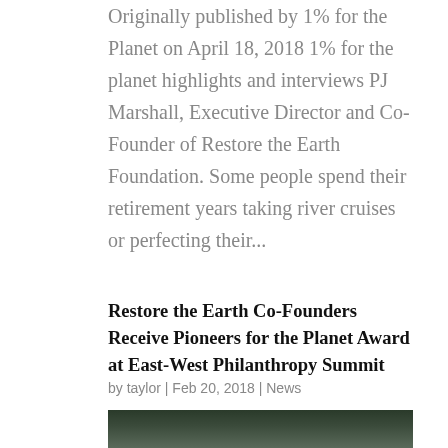Originally published by 1% for the Planet on April 18, 2018 1% for the planet highlights and interviews PJ Marshall, Executive Director and Co-Founder of Restore the Earth Foundation. Some people spend their retirement years taking river cruises or perfecting their...
Restore the Earth Co-Founders Receive Pioneers for the Planet Award at East-West Philanthropy Summit
by taylor | Feb 20, 2018 | News
[Figure (photo): Photo of two elderly people (a woman with light hair on the left and a man with grey/white hair on the right) against a dark background with green foliage visible at top.]